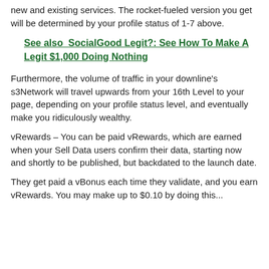new and existing services. The rocket-fueled version you get will be determined by your profile status of 1-7 above.
See also  SocialGood Legit?: See How To Make A Legit $1,000 Doing Nothing
Furthermore, the volume of traffic in your downline’s s3Network will travel upwards from your 16th Level to your page, depending on your profile status level, and eventually make you ridiculously wealthy.
vRewards – You can be paid vRewards, which are earned when your Sell Data users confirm their data, starting now and shortly to be published, but backdated to the launch date.
They get paid a vBonus each time they validate, and you earn vRewards. You may make up to $0.10 by doing this...